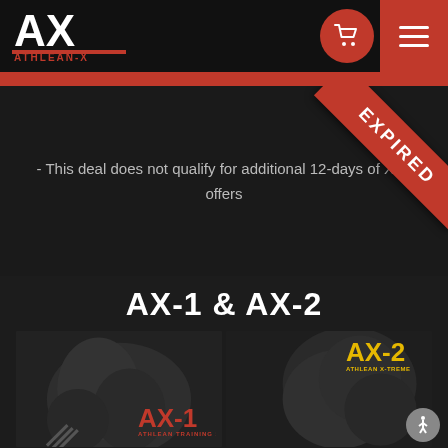ATHLEAN-X logo and navigation bar with cart and menu icons
- This deal does not qualify for additional 12-days of X-M offers
[Figure (other): Red diagonal EXPIRED ribbon overlay in the top-right of the deal section]
AX-1 & AX-2
[Figure (photo): Side-by-side product images: AX-1 (Athlean Training System) on the left in black and white showing muscular torso doing pullup, AX-2 (Athlean X-Treme) on the right in black and white with gold/yellow AX-2 logo showing muscular athlete]
[Figure (other): Accessibility icon button in bottom-right corner]